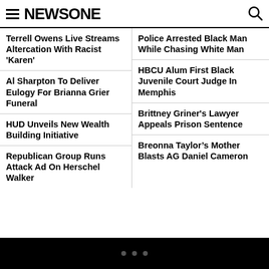NEWSONE
Terrell Owens Live Streams Altercation With Racist 'Karen'
Police Arrested Black Man While Chasing White Man
Al Sharpton To Deliver Eulogy For Brianna Grier Funeral
HBCU Alum First Black Juvenile Court Judge In Memphis
HUD Unveils New Wealth Building Initiative
Brittney Griner's Lawyer Appeals Prison Sentence
Republican Group Runs Attack Ad On Herschel Walker
Breonna Taylor’s Mother Blasts AG Daniel Cameron